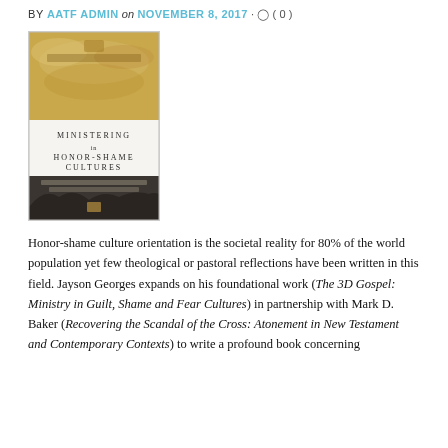BY AATF ADMIN on NOVEMBER 8, 2017 · ◯ ( 0 )
[Figure (photo): Book cover of 'Ministering in Honor-Shame Cultures: Biblical Foundations and Practical Essentials' by Jayson Georges and Mark D. Baker. The cover has a golden/sepia toned top half with clouds and text, a white middle band with the title, and a dark bottom half with rocky landscape.]
Honor-shame culture orientation is the societal reality for 80% of the world population yet few theological or pastoral reflections have been written in this field. Jayson Georges expands on his foundational work (The 3D Gospel: Ministry in Guilt, Shame and Fear Cultures) in partnership with Mark D. Baker (Recovering the Scandal of the Cross: Atonement in New Testament and Contemporary Contexts) to write a profound book concerning